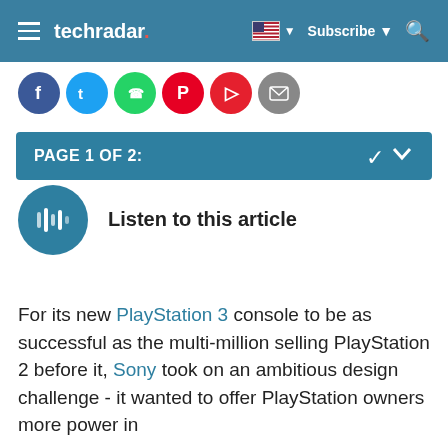techradar | Subscribe | Search
[Figure (infographic): Social share icons row: Facebook, Twitter, WhatsApp, Pinterest, Flipboard, Email]
PAGE 1 OF 2:
[Figure (infographic): Listen to this article audio button (circular teal play button)]
Listen to this article
For its new PlayStation 3 console to be as successful as the multi-million selling PlayStation 2 before it, Sony took on an ambitious design challenge - it wanted to offer PlayStation owners more power in